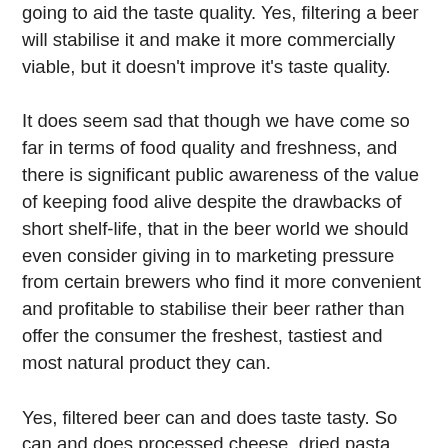going to aid the taste quality. Yes, filtering a beer will stabilise it and make it more commercially viable, but it doesn't improve it's taste quality.
It does seem sad that though we have come so far in terms of food quality and freshness, and there is significant public awareness of the value of keeping food alive despite the drawbacks of short shelf-life, that in the beer world we should even consider giving in to marketing pressure from certain brewers who find it more convenient and profitable to stabilise their beer rather than offer the consumer the freshest, tastiest and most natural product they can.
Yes, filtered beer can and does taste tasty. So can and does processed cheese, dried pasta, frozen peas, etc. But all these products taste so much better when fresh. As long as the concept of "craft beer" includes filtering as not only acceptable but desirable, I would stand